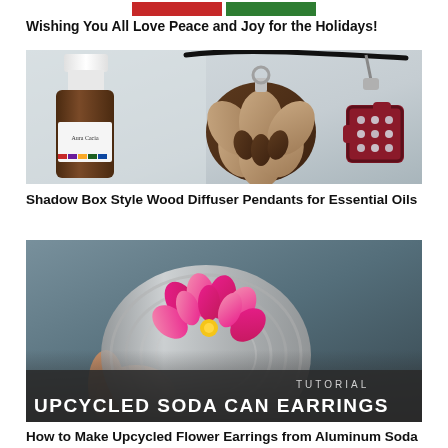Wishing You All Love Peace and Joy for the Holidays!
[Figure (photo): Photo of an Aura Cacia essential oil bottle next to a wooden lotus flower pendant necklace and a red decorative pendant on a dark cord.]
Shadow Box Style Wood Diffuser Pendants for Essential Oils
[Figure (photo): Tutorial banner image showing upcycled soda can earrings with pink flower decorations made from paper punches, with overlay text reading TUTORIAL UPCYCLED SODA CAN EARRINGS.]
How to Make Upcycled Flower Earrings from Aluminum Soda Cans | Paper Punches and Templates